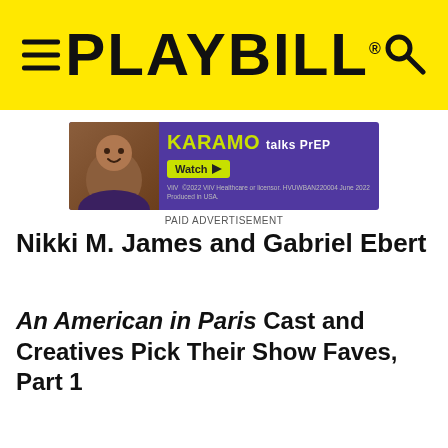PLAYBILL
[Figure (other): KARAMO talks PrEP Watch advertisement banner with ViiV Healthcare branding]
PAID ADVERTISEMENT
Nikki M. James and Gabriel Ebert
An American in Paris Cast and Creatives Pick Their Show Faves, Part 1